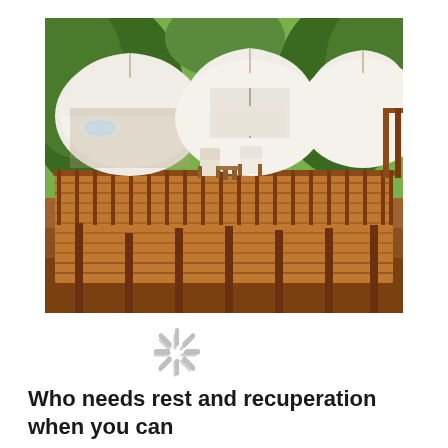[Figure (photo): Aerial view of luxury safari glamping tents with white dome roofs on a wooden elevated deck/walkway, surrounded by African savanna brush and orange-red soil. The wooden deck has railings and support stilts. Multiple white canvas tents are visible with open sides showing interior furnishings.]
Who needs rest and recuperation when you can